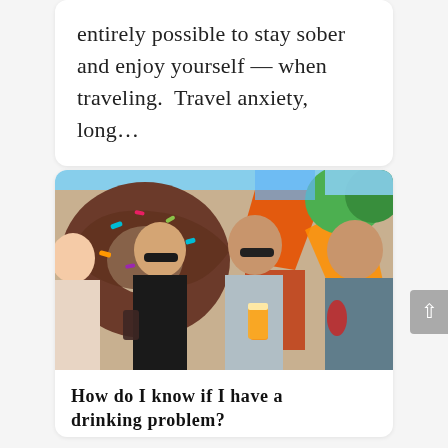entirely possible to stay sober and enjoy yourself — when traveling.  Travel anxiety, long...
[Figure (photo): Four women holding drinks and laughing outdoors in front of a colorful mural with donut and abstract art designs. Sunny day with trees in background.]
How do I know if I have a drinking problem?